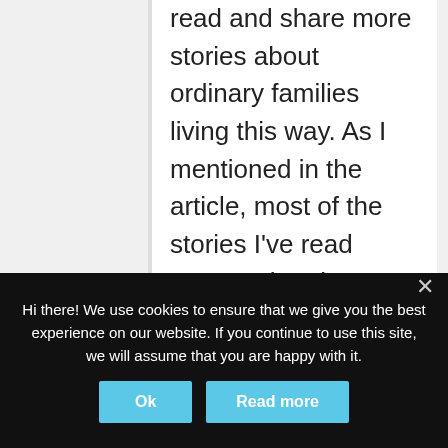read and share more stories about ordinary families living this way. As I mentioned in the article, most of the stories I've read seem to be about very high up executives or business owners-not ordinary families. It's good to get to virtually know other families in the same situation!
★ Loading...
Reply
Hi there! We use cookies to ensure that we give you the best experience on our website. If you continue to use this site, we will assume that you are happy with it.